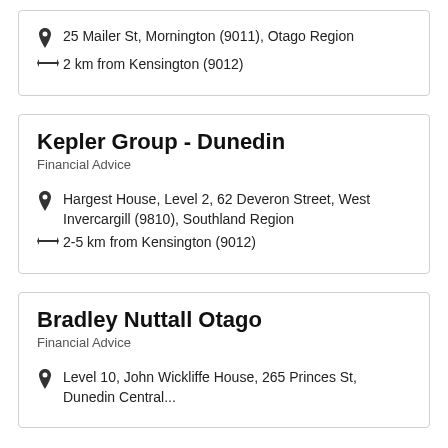25 Mailer St, Mornington (9011), Otago Region
2 km from Kensington (9012)
Kepler Group - Dunedin
Financial Advice
Hargest House, Level 2, 62 Deveron Street, West Invercargill (9810), Southland Region
2-5 km from Kensington (9012)
Bradley Nuttall Otago
Financial Advice
Level 10, John Wickliffe House, 265 Princes St, Dunedin Central...